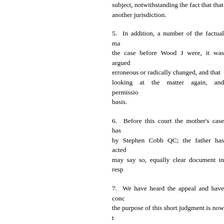subject, notwithstanding the fact that that another jurisdiction.
5. In addition, a number of the factual ma the case before Wood J were, it was argued erroneous or radically changed, and that looking at the matter again, and permissio basis.
6. Before this court the mother's case has by Stephen Cobb QC; the father has acted may say so, equally clear document in resp
7. We have heard the appeal and have conc the purpose of this short judgment is now t
8. The factual history of the matter, over a can be shortly stated. T's father was born i citizenship through his first marriage, and as his original Lebanese citizenship. The t substantial connection with the United settling in Wales having a business there, a who have gone on to be the mother of jurisdiction. The mother was born in Tha Thai national. She and the father met in 2 early years of that relationship, both before spent variously in different jurisdictions, a the findings of Wood J, that the family car